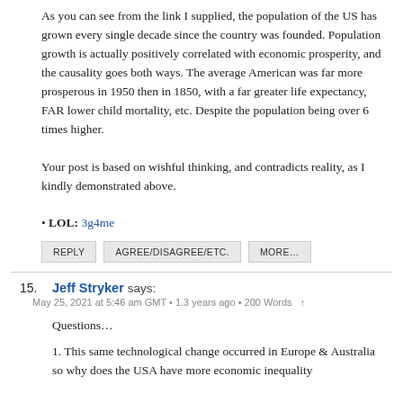As you can see from the link I supplied, the population of the US has grown every single decade since the country was founded. Population growth is actually positively correlated with economic prosperity, and the causality goes both ways. The average American was far more prosperous in 1950 then in 1850, with a far greater life expectancy, FAR lower child mortality, etc. Despite the population being over 6 times higher.
Your post is based on wishful thinking, and contradicts reality, as I kindly demonstrated above.
• LOL: 3g4me
REPLY  AGREE/DISAGREE/ETC.  MORE…
15. Jeff Stryker says:
May 25, 2021 at 5:46 am GMT • 1.3 years ago • 200 Words ↑
Questions…
1. This same technological change occurred in Europe & Australia so why does the USA have more economic inequality